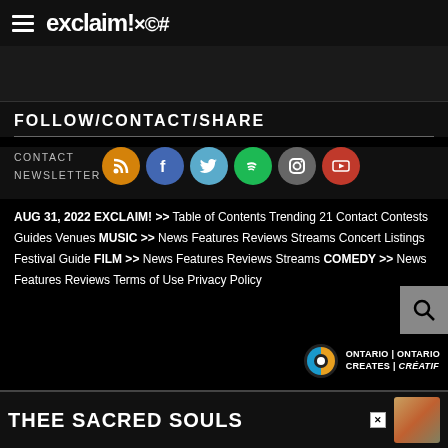exclaim!×©#
FOLLOW/CONTACT/SHARE
CONTACT
NEWSLETTER
[Figure (infographic): Six social media icons in circles: RSS (orange), Facebook (blue), Twitter (light blue), Spotify (green), Instagram (gray), YouTube (red)]
AUG 31, 2022 EXCLAIM! >> Table of Contents Trending 21 Contact Contests Guides Venues MUSIC >> News Features Reviews Streams Concert Listings Festival Guide FILM >> News Features Reviews Streams COMEDY >> News Features Reviews Terms of Use Privacy Policy
[Figure (logo): Ontario Creates | Ontario Créatif logo with colorful circular icon]
[Figure (infographic): Advertisement banner: THEE SACRED SOULS with album art thumbnail]